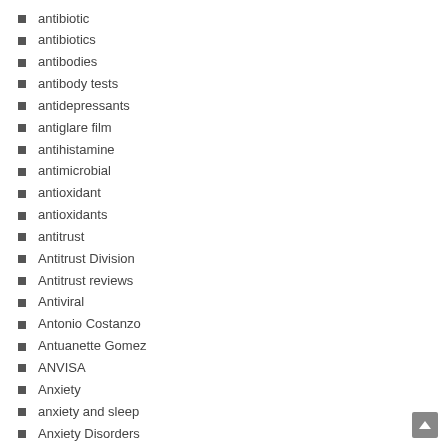antibiotic
antibiotics
antibodies
antibody tests
antidepressants
antiglare film
antihistamine
antimicrobial
antioxidant
antioxidants
antitrust
Antitrust Division
Antitrust reviews
Antiviral
Antonio Costanzo
Antuanette Gomez
ANVISA
Anxiety
anxiety and sleep
Anxiety Disorders
anxiety marijuana